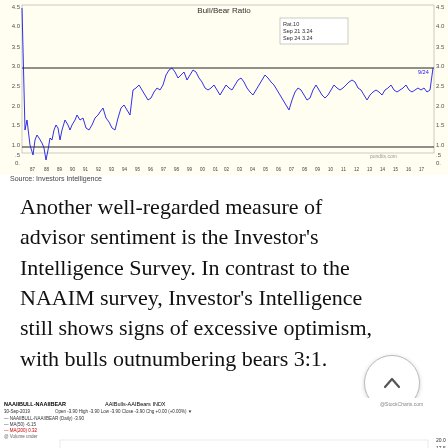[Figure (continuous-plot): Bull/Bear Ratio line chart from Investors Intelligence, showing data from approximately 1987 to 2022. Y-axis ranges from 0 to 4.5. A legend box shows Sep 21: 3.24, Sep 24: 3.24. A label '9/24' appears near the right end of the line. Horizontal reference lines at 1.0 and 3.0. Source: pundits.com]
Source: Investors Intelligence
Another well-regarded measure of advisor sentiment is the Investor’s Intelligence Survey. In contrast to the NAAIM survey, Investor’s Intelligence still shows signs of excessive optimism, with bulls outnumbering bears 3:1.
[Figure (continuous-plot): NAAIBULL-NAAIIBEAR AAIBulls-AAIBears INDX chart from StockCharts.com, dated 30-Sep-2019. Shows NAAIIBULL-NAAIIBEAR (Daily) -3.90, MA(50) -6.15, MA(200) 0.32. Volume under. Y-axis shows 20.0, 17.5, 15.0, 12.5, 10.0, 7.5, 5.0, 2.5. Black step line with blue and red moving average lines.]